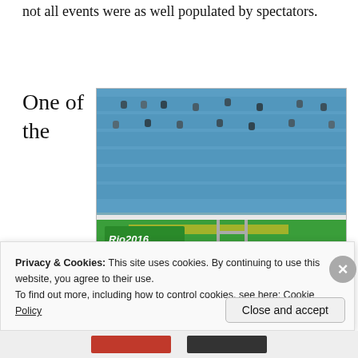not all events were as well populated by spectators.
One of the
[Figure (photo): Rio 2016 Olympics photo showing runners on a track with many empty blue seats visible in the stands behind them. The Rio 2016 logo is visible on the track barrier.]
Privacy & Cookies: This site uses cookies. By continuing to use this website, you agree to their use.
To find out more, including how to control cookies, see here: Cookie Policy
Close and accept